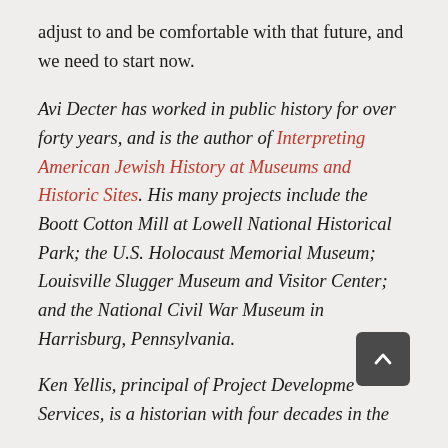adjust to and be comfortable with that future, and we need to start now.
Avi Decter has worked in public history for over forty years, and is the author of Interpreting American Jewish History at Museums and Historic Sites. His many projects include the Boott Cotton Mill at Lowell National Historical Park; the U.S. Holocaust Memorial Museum; Louisville Slugger Museum and Visitor Center; and the National Civil War Museum in Harrisburg, Pennsylvania.
Ken Yellis, principal of Project Development Services, is a historian with four decades in the